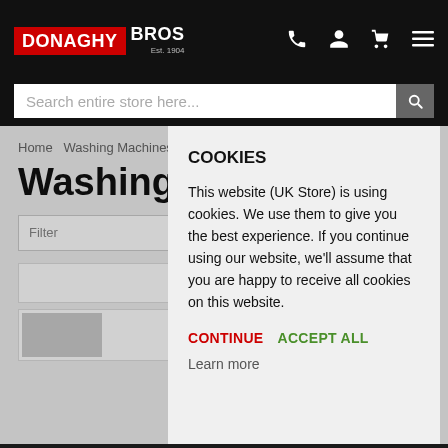[Figure (logo): Donaghy Bros logo with red background for DONAGHY and white text for BROS, Est. 1904]
Search entire store here...
Home  Washing Machines
Washing Machines
COOKIES
This website (UK Store) is using cookies. We use them to give you the best experience. If you continue using our website, we'll assume that you are happy to receive all cookies on this website.
CONTINUE  ACCEPT ALL
Learn more